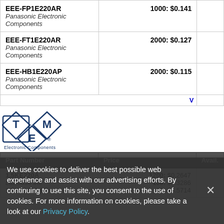| Part Number | Price | Avail. |
| --- | --- | --- |
| EEE-FP1E220AR
Panasonic Electronic Components | 1000: $0.141 |  |
| EEE-FT1E220AR
Panasonic Electronic Components | 2000: $0.127 |  |
| EEE-HB1E220AP
Panasonic Electronic Components | 2000: $0.115 |  |
[Figure (logo): TME Electronic Components logo — diamond shape with letters T, M, E inside, text 'Electronic Components' below]
| Part Number | Price | Avail. |
| --- | --- | --- |
| 1.5KE220A
Littelfuse Inc
1.5KE220A-LF | 1200: $0.2647
100: $0.3286
10: $0.5714 |  |
We use cookies to deliver the best possible web experience and assist with our advertising efforts. By continuing to use this site, you consent to the use of cookies. For more information on cookies, please take a look at our Privacy Policy.